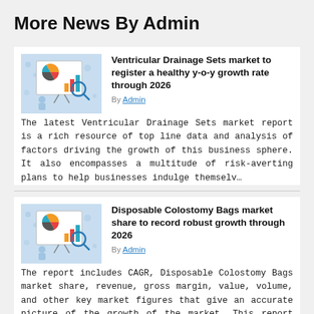More News By Admin
[Figure (illustration): Market research illustration showing a presentation board with pie chart and bar chart, with a person and magnifying glass icon, on a blue background]
Ventricular Drainage Sets market to register a healthy y-o-y growth rate through 2026
By Admin
The latest Ventricular Drainage Sets market report is a rich resource of top line data and analysis of factors driving the growth of this business sphere. It also encompasses a multitude of risk-averting plans to help businesses indulge themselv…
[Figure (illustration): Market research illustration showing a presentation board with pie chart and bar chart, with a person and magnifying glass icon, on a blue background]
Disposable Colostomy Bags market share to record robust growth through 2026
By Admin
The report includes CAGR, Disposable Colostomy Bags market share, revenue, gross margin, value, volume, and other key market figures that give an accurate picture of the growth of the market. This report includes as